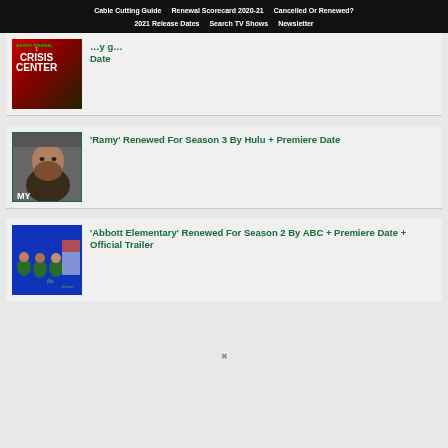Cable Cutting Guide | Renewal Scorecard 2020-21 | Cancelled Or Renewed? | 2021 Release Dates | Search TV Shows | Newsletter
'Ramy' Renewed For Season 3 By Hulu + Premiere Date
'Abbott Elementary' Renewed For Season 2 By ABC + Premiere Date + Official Trailer